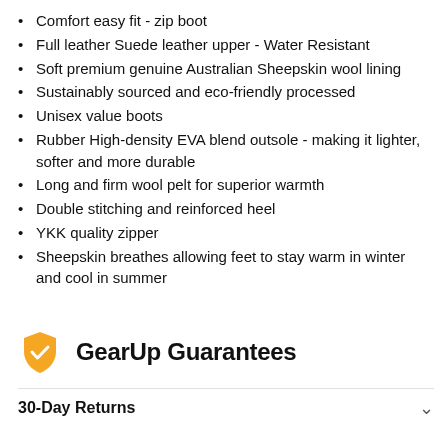Comfort easy fit - zip boot
Full leather Suede leather upper - Water Resistant
Soft premium genuine Australian Sheepskin wool lining
Sustainably sourced and eco-friendly processed
Unisex value boots
Rubber High-density EVA blend outsole - making it lighter, softer and more durable
Long and firm wool pelt for superior warmth
Double stitching and reinforced heel
YKK quality zipper
Sheepskin breathes allowing feet to stay warm in winter and cool in summer
GearUp Guarantees
30-Day Returns